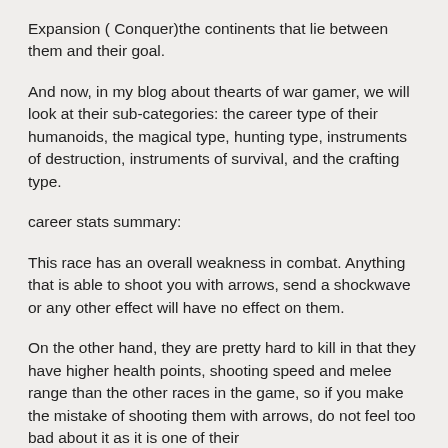Expansion ( Conquer)the continents that lie between them and their goal.
And now, in my blog about thearts of war gamer, we will look at their sub-categories: the career type of their humanoids, the magical type, hunting type, instruments of destruction, instruments of survival, and the crafting type.
career stats summary:
This race has an overall weakness in combat. Anything that is able to shoot you with arrows, send a shockwave or any other effect will have no effect on them.
On the other hand, they are pretty hard to kill in that they have higher health points, shooting speed and melee range than the other races in the game, so if you make the mistake of shooting them with arrows, do not feel too bad about it as it is one of their